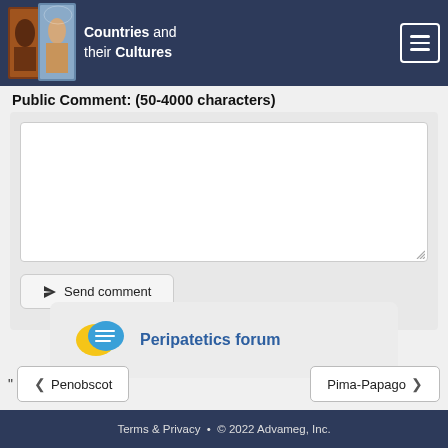Countries and their Cultures
Public Comment: (50-4000 characters)
[textarea input area]
Send comment
Peripatetics forum
Penobscot
Pima-Papago
Terms & Privacy • © 2022 Advameg, Inc.